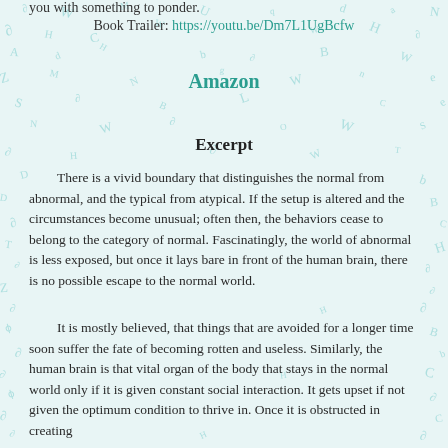you with something to ponder.
Book Trailer: https://youtu.be/Dm7L1UgBcfw
Amazon
Excerpt
There is a vivid boundary that distinguishes the normal from abnormal, and the typical from atypical. If the setup is altered and the circumstances become unusual; often then, the behaviors cease to belong to the category of normal. Fascinatingly, the world of abnormal is less exposed, but once it lays bare in front of the human brain, there is no possible escape to the normal world.
It is mostly believed, that things that are avoided for a longer time soon suffer the fate of becoming rotten and useless. Similarly, the human brain is that vital organ of the body that stays in the normal world only if it is given constant social interaction. It gets upset if not given the optimum condition to thrive in. Once it is obstructed in creating